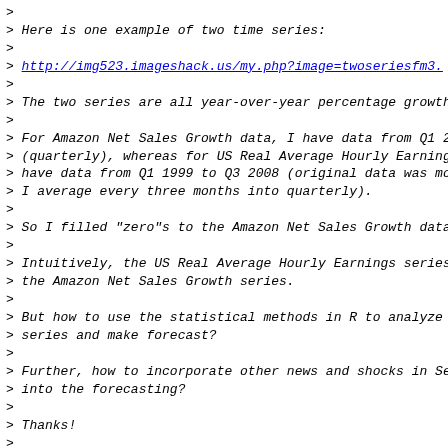>
> Here is one example of two time series:
>
> http://img523.imageshack.us/my.php?image=twoseriesfm3.
>
> The two series are all year-over-year percentage growth
>
> For Amazon Net Sales Growth data, I have data from Q1 2
> (quarterly), whereas for US Real Average Hourly Earning
> have data from Q1 1999 to Q3 2008 (original data was mo
> I average every three months into quarterly).
>
> So I filled "zero"s to the Amazon Net Sales Growth data
>
> Intuitively, the US Real Average Hourly Earnings series
> the Amazon Net Sales Growth series.
>
> But how to use the statistical methods in R to analyze
> series and make forecast?
>
> Further, how to incorporate other news and shocks in Se
> into the forecasting?
>
> Thanks!
>
>
> On Thu, Oct 23, 2008 at 2:51 AM,  <Rory.WINSTON at rbs
>
>> Dealing with accounting data is, in statistical terms,
>>